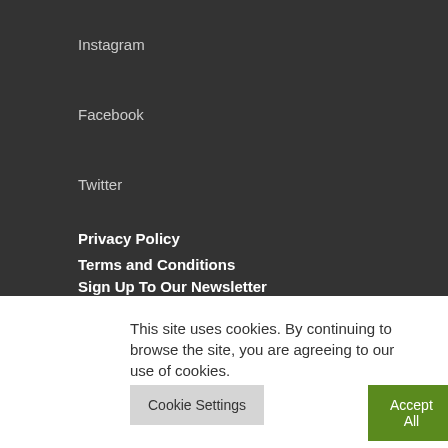Instagram
Facebook
Twitter
Privacy Policy
Terms and Conditions
Sign Up To Our Newsletter
This site uses cookies. By continuing to browse the site, you are agreeing to our use of cookies.
Cookie Settings
Accept All